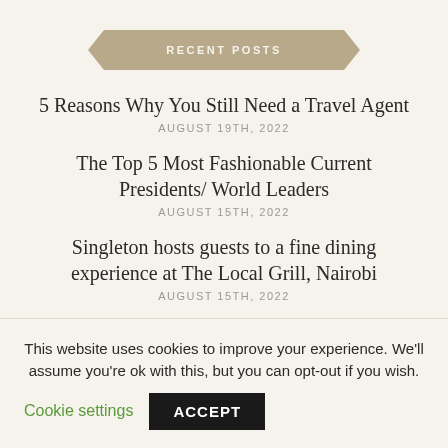RECENT POSTS
5 Reasons Why You Still Need a Travel Agent
AUGUST 19TH, 2022
The Top 5 Most Fashionable Current Presidents/ World Leaders
AUGUST 15TH, 2022
Singleton hosts guests to a fine dining experience at The Local Grill, Nairobi
AUGUST 15TH, 2022
Nanyuki's finest dining restaurant, a must visit- The
This website uses cookies to improve your experience. We'll assume you're ok with this, but you can opt-out if you wish.
Cookie settings   ACCEPT